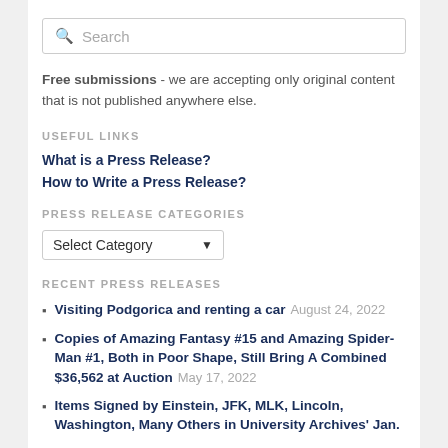[Figure (screenshot): Search input box with placeholder text 'Search' and search icon]
Free submissions - we are accepting only original content that is not published anywhere else.
USEFUL LINKS
What is a Press Release?
How to Write a Press Release?
PRESS RELEASE CATEGORIES
[Figure (screenshot): Dropdown select box with 'Select Category' placeholder]
RECENT PRESS RELEASES
Visiting Podgorica and renting a car August 24, 2022
Copies of Amazing Fantasy #15 and Amazing Spider-Man #1, Both in Poor Shape, Still Bring A Combined $36,562 at Auction May 17, 2022
Items Signed by Einstein, JFK, MLK, Lincoln, Washington, Many Others in University Archives' Jan.